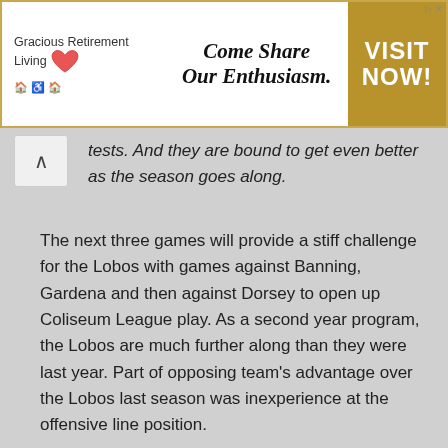[Figure (other): Advertisement banner for Gracious Retirement Living with slogan 'Come Share Our Enthusiasm.' and gold 'VISIT NOW!' button on right]
tests. And they are bound to get even better as the season goes along.
The next three games will provide a stiff challenge for the Lobos with games against Banning, Gardena and then against Dorsey to open up Coliseum League play. As a second year program, the Lobos are much further along than they were last year. Part of opposing team's advantage over the Lobos last season was inexperience at the offensive line position.
[Figure (logo): The Wren DC logo on dark slate blue background with inner border frame]